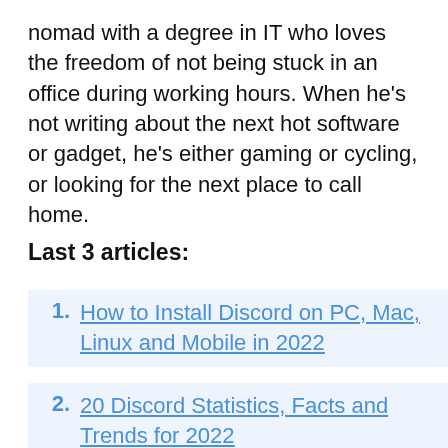nomad with a degree in IT who loves the freedom of not being stuck in an office during working hours. When he's not writing about the next hot software or gadget, he's either gaming or cycling, or looking for the next place to call home.
Last 3 articles:
How to Install Discord on PC, Mac, Linux and Mobile in 2022
20 Discord Statistics, Facts and Trends for 2022
The 5 Best Data Privacy